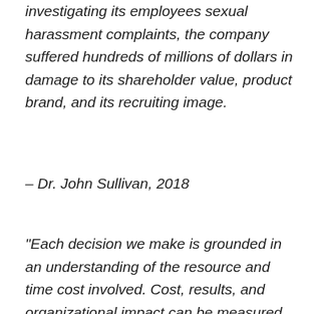investigating its employees sexual harassment complaints, the company suffered hundreds of millions of dollars in damage to its shareholder value, product brand, and its recruiting image.
– Dr. John Sullivan, 2018
“Each decision we make is grounded in an understanding of the resource and time cost involved. Cost, results, and organizational impact can be measured objectively through a